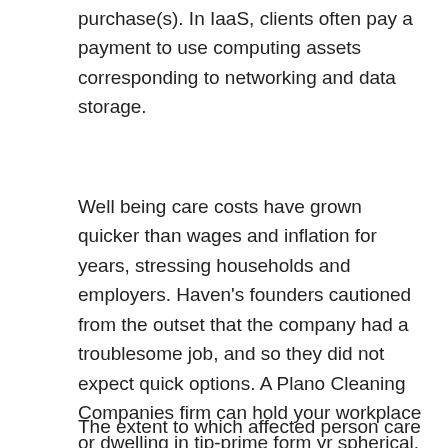purchase(s). In IaaS, clients often pay a payment to use computing assets corresponding to networking and data storage.
Well being care costs have grown quicker than wages and inflation for years, stressing households and employers. Haven’s founders cautioned from the outset that the company had a troublesome job, and so they did not expect quick options. A Plano Cleaning Companies firm can hold your workplace or dwelling in tip-prime form yr spherical. Click on over to for extra information about providers in your space.
The extent to which affected person care